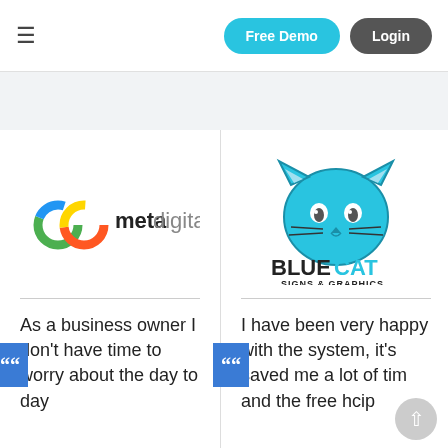≡  Free Demo  Login
[Figure (logo): meta digital logo - colorful infinity loop with 'meta' in bold and 'digital' in gray]
As a business owner I don't have time to worry about the day to day
[Figure (logo): Blue Cat Signs & Graphics logo - cartoon blue cat head with BLUE in black bold and CAT in blue bold, SIGNS & GRAPHICS below]
I have been very happy with the system, it's saved me a lot of tim and the free hcip